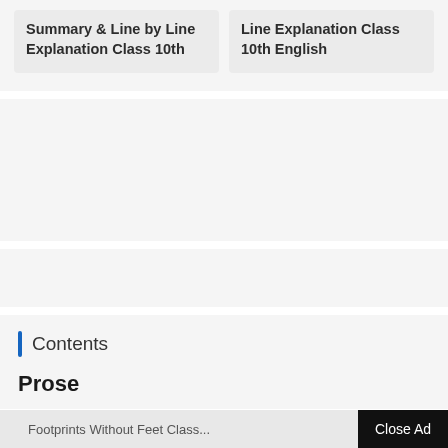Summary & Line by Line Explanation Class 10th
Line Explanation Class 10th English
Contents
Prose
Footprints Without Feet Class... Close Ad